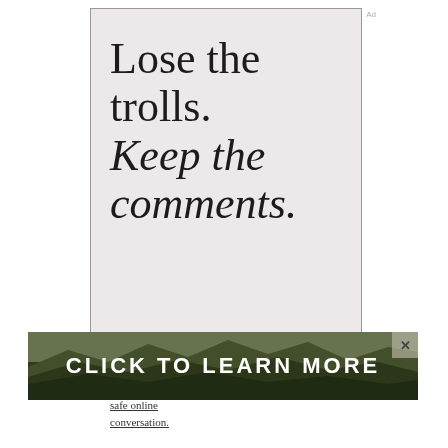[Figure (infographic): Advertisement panel with light pinkish-beige background showing the text 'Lose the trolls. Keep the comments.' in large serif font (partly italic), with a 'CLICK TO LEARN MORE' banner at the bottom overlaid on a mountain landscape photo, and partially visible text 'safe online conversation.' at the very bottom.]
Lose the trolls. Keep the comments.
CLICK TO LEARN MORE
safe online conversation.